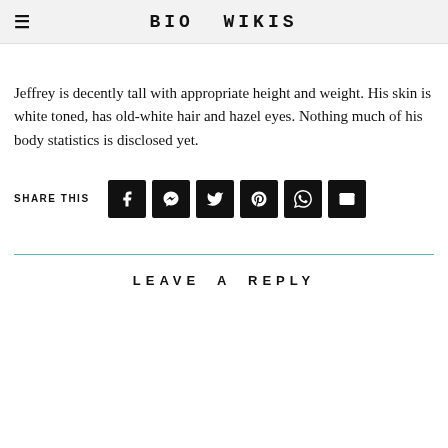BIO WIKIS
Jeffrey is decently tall with appropriate height and weight. His skin is white toned, has old-white hair and hazel eyes. Nothing much of his body statistics is disclosed yet.
SHARE THIS
LEAVE A REPLY